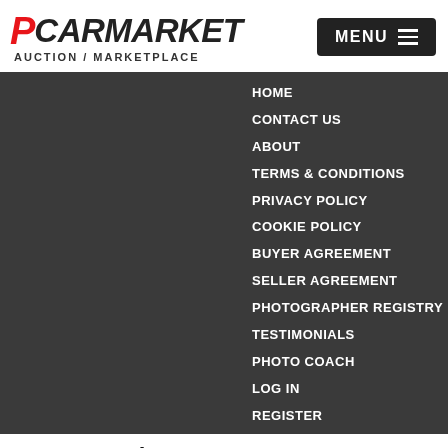PCARMARKET AUCTION / MARKETPLACE
HOME
CONTACT US
ABOUT
TERMS & CONDITIONS
PRIVACY POLICY
COOKIE POLICY
BUYER AGREEMENT
SELLER AGREEMENT
PHOTOGRAPHER REGISTRY
TESTIMONIALS
PHOTO COACH
LOG IN
REGISTER
2022 Porsche 992 GT3
No offers. Final Bid: $250,000